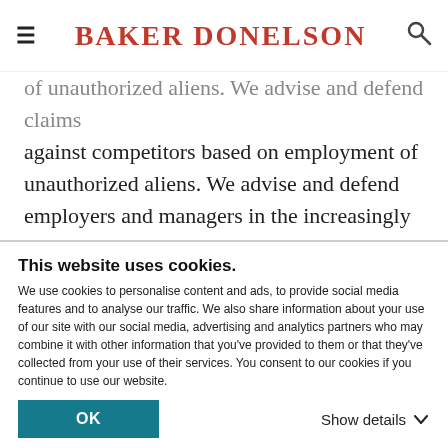BAKER DONELSON
of unauthorized aliens. We advise and defend claims against competitors based on employment of unauthorized aliens. We advise and defend employers and managers in the increasingly common criminal investigations and proceedings relating to employment of aliens.
This website uses cookies. We use cookies to personalise content and ads, to provide social media features and to analyse our traffic. We also share information about your use of our site with our social media, advertising and analytics partners who may combine it with other information that you've provided to them or that they've collected from your use of their services. You consent to our cookies if you continue to use our website.